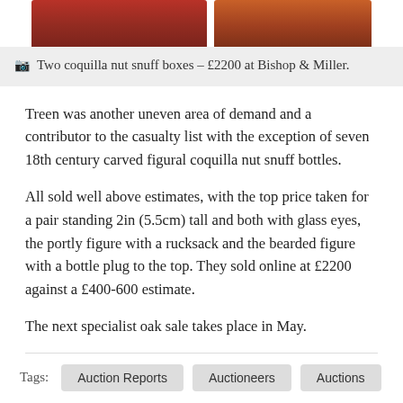[Figure (photo): Two cropped photos of coquilla nut snuff boxes — one showing a reddish-brown carved figure on the left, another showing an orange-brown carved figure on the right]
Two coquilla nut snuff boxes – £2200 at Bishop & Miller.
Treen was another uneven area of demand and a contributor to the casualty list with the exception of seven 18th century carved figural coquilla nut snuff bottles.
All sold well above estimates, with the top price taken for a pair standing 2in (5.5cm) tall and both with glass eyes, the portly figure with a rucksack and the bearded figure with a bottle plug to the top. They sold online at £2200 against a £400-600 estimate.
The next specialist oak sale takes place in May.
Tags: Auction Reports  Auctioneers  Auctions